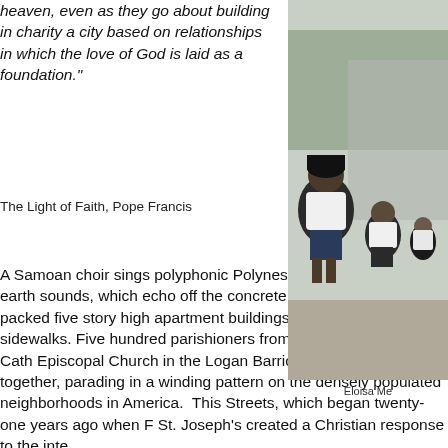heaven, even as they go about building in charity a city based on relationships in which the love of God is laid as a foundation."
The Light of Faith, Pope Francis
A Samoan choir sings polyphonic Polynesian hymns, haunting earth sounds, which echo off the concrete facades of the densely packed five story high apartment buildings, pressing up to the sidewalks. Five hundred parishioners from St. Joseph's Roman Catholic Episcopal Church in the Logan Barrio of Santa Ana, sing together, parading in a winding pattern on the densely populated neighborhoods in America.  This Streets, which began twenty-one years ago when F St. Joseph's created a Christian response to the inte
[Figure (photo): Outdoor photo showing people in white t-shirts gathered near trees and a building. Partially visible, cropped on the right side of the page.]
Eloisa Me